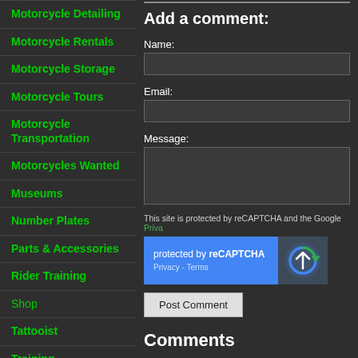Motorcycle Detailing
Motorcycle Rentals
Motorcycle Storage
Motorcycle Tours
Motorcycle Transportation
Motorcycles Wanted
Museums
Number Plates
Parts & Accessories
Rider Training
Shop
Tattooist
Training
Transportation
Add a comment:
Name:
Email:
Message:
This site is protected by reCAPTCHA and the Google Priva
[Figure (other): reCAPTCHA widget showing 'protected by reCAPTCHA' with Privacy and Terms links, and the reCAPTCHA logo icon on the right]
Post Comment
Comments